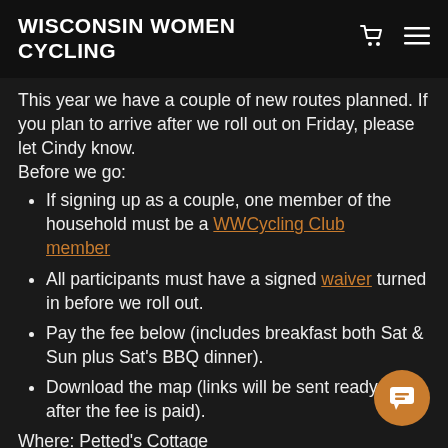WISCONSIN WOMEN CYCLING
This year we have a couple of new routes planned.  If you plan to arrive after we roll out on Friday, please let Cindy know.
Before we go:
If signing up as a couple, one member of the household must be a WWCycling Club member
All participants must have a signed waiver turned in before we roll out.
Pay the fee below (includes breakfast both Sat & Sun plus Sat's BBQ dinner).
Download the map (links will be sent ready and after the fee is paid).
Where:  Petted's Cottage